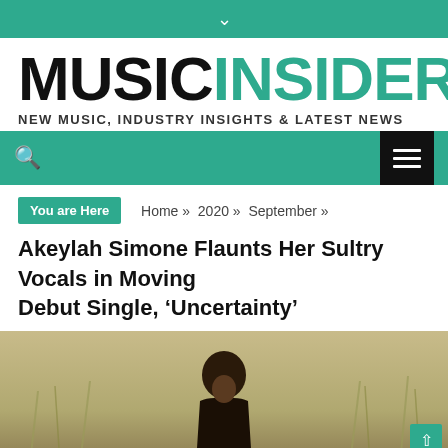↓
MUSICINSIDER
NEW MUSIC, INDUSTRY INSIGHTS & LATEST NEWS
Search and Menu navigation bar
You are Here  Home » 2020 » September »
Akeylah Simone Flaunts Her Sultry Vocals in Moving Debut Single, 'Uncertainty'
[Figure (photo): Photo of a person with curly hair standing in a field of tall grass with a warm golden-green background.]